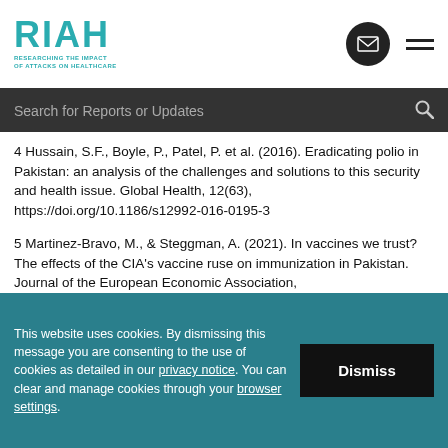[Figure (logo): RIAH logo - Researching the Impact of Attacks on Healthcare, teal/cyan colored text]
Search for Reports or Updates
4 Hussain, S.F., Boyle, P., Patel, P. et al. (2016). Eradicating polio in Pakistan: an analysis of the challenges and solutions to this security and health issue. Global Health, 12(63), https://doi.org/10.1186/s12992-016-0195-3
5 Martinez-Bravo, M., & Steggman, A. (2021). In vaccines we trust? The effects of the CIA's vaccine ruse on immunization in Pakistan. Journal of the European Economic Association, https://doi.org/10.1093/jeea/jvab018
This website uses cookies. By dismissing this message you are consenting to the use of cookies as detailed in our privacy notice. You can clear and manage cookies through your browser settings.